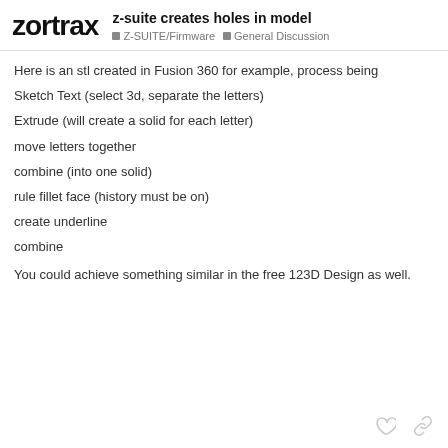z-suite creates holes in model | Z-SUITE/Firmware | General Discussion
Here is an stl created in Fusion 360 for example, process being
Sketch Text (select 3d, separate the letters)
Extrude (will create a solid for each letter)
move letters together
combine (into one solid)
rule fillet face (history must be on)
create underline
combine
You could achieve something similar in the free 123D Design as well.